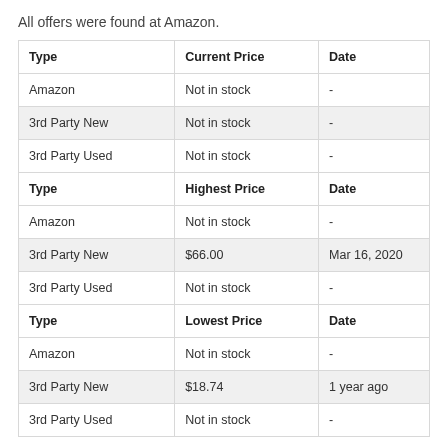All offers were found at Amazon.
| Type | Current Price | Date |
| --- | --- | --- |
| Amazon | Not in stock | - |
| 3rd Party New | Not in stock | - |
| 3rd Party Used | Not in stock | - |
| Type | Highest Price | Date |
| --- | --- | --- |
| Amazon | Not in stock | - |
| 3rd Party New | $66.00 | Mar 16, 2020 |
| 3rd Party Used | Not in stock | - |
| Type | Lowest Price | Date |
| --- | --- | --- |
| Amazon | Not in stock | - |
| 3rd Party New | $18.74 | 1 year ago |
| 3rd Party Used | Not in stock | - |